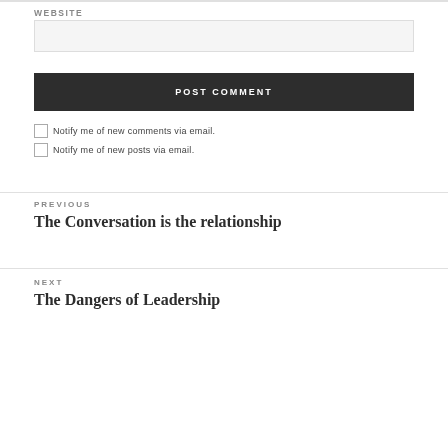WEBSITE
POST COMMENT
Notify me of new comments via email.
Notify me of new posts via email.
PREVIOUS
The Conversation is the relationship
NEXT
The Dangers of Leadership